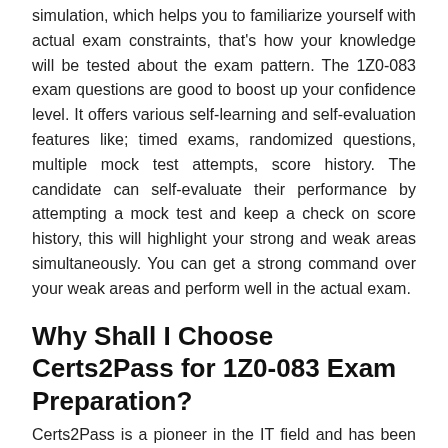simulation, which helps you to familiarize yourself with actual exam constraints, that's how your knowledge will be tested about the exam pattern. The 1Z0-083 exam questions are good to boost up your confidence level. It offers various self-learning and self-evaluation features like; timed exams, randomized questions, multiple mock test attempts, score history. The candidate can self-evaluate their performance by attempting a mock test and keep a check on score history, this will highlight your strong and weak areas simultaneously. You can get a strong command over your weak areas and perform well in the actual exam.
Why Shall I Choose Certs2Pass for 1Z0-083 Exam Preparation?
Certs2Pass is a pioneer in the IT field and has been providing services for a quite long time, we have served and gathered 70,000+ satisfied customers globally and have won their trust by making them certified professionals. This indicated that